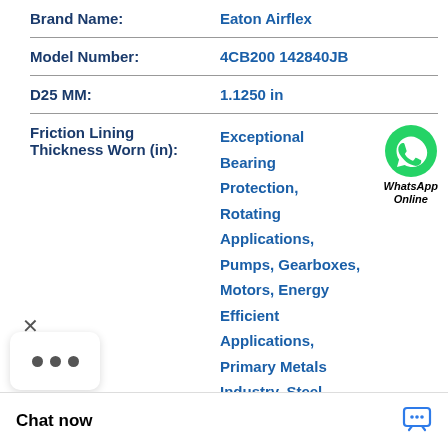| Attribute | Value |
| --- | --- |
| Brand Name: | Eaton Airflex |
| Model Number: | 4CB200 142840JB |
| D25 MM: | 1.1250 in |
| Friction Lining Thickness Worn (in): | Exceptional Bearing Protection, Rotating Applications, Pumps, Gearboxes, Motors, Energy Efficient Applications, Primary Metals Industry, Steel |
[Figure (logo): WhatsApp green circle icon with phone handset, labeled 'WhatsApp Online' in italic bold text]
× ... Chat now